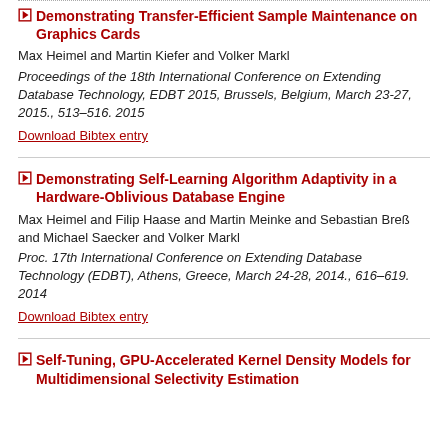Demonstrating Transfer-Efficient Sample Maintenance on Graphics Cards
Max Heimel and Martin Kiefer and Volker Markl
Proceedings of the 18th International Conference on Extending Database Technology, EDBT 2015, Brussels, Belgium, March 23-27, 2015., 513–516. 2015
Download Bibtex entry
Demonstrating Self-Learning Algorithm Adaptivity in a Hardware-Oblivious Database Engine
Max Heimel and Filip Haase and Martin Meinke and Sebastian Breß and Michael Saecker and Volker Markl
Proc. 17th International Conference on Extending Database Technology (EDBT), Athens, Greece, March 24-28, 2014., 616–619. 2014
Download Bibtex entry
Self-Tuning, GPU-Accelerated Kernel Density Models for Multidimensional Selectivity Estimation